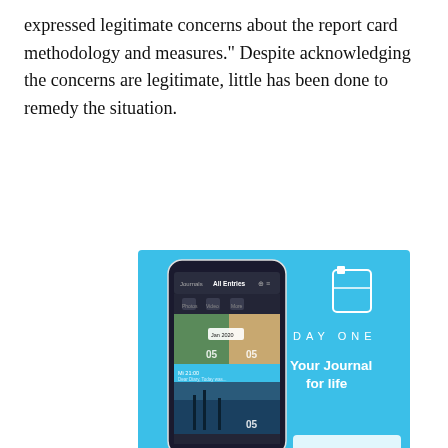expressed legitimate concerns about the report card methodology and measures.” Despite acknowledging the concerns are legitimate, little has been done to remedy the situation.
[Figure (screenshot): Advertisement for DayOne app showing a smartphone with the app open displaying journal entries, on a light blue background with the text 'DAY ONE' and 'Your Journal for life']
Privacy & Cookies: This site uses cookies. By continuing to use this website, you agree to their use.
To find out more, including how to control cookies, see here: Cookie Policy